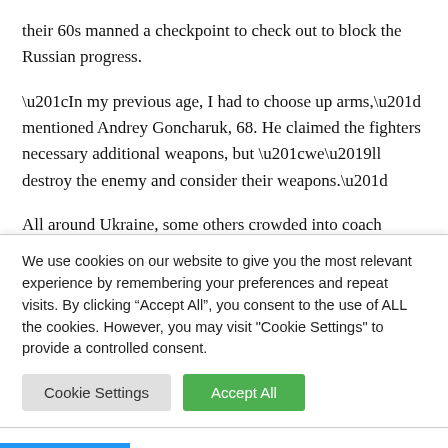their 60s manned a checkpoint to check out to block the Russian progress.
“In my previous age, I had to choose up arms,” mentioned Andrey Goncharuk, 68. He claimed the fighters necessary additional weapons, but “we’ll destroy the enemy and consider their weapons.”
All around Ukraine, some others crowded into coach stations, carrying kids wrapped in blankets and dragging
We use cookies on our website to give you the most relevant experience by remembering your preferences and repeat visits. By clicking “Accept All”, you consent to the use of ALL the cookies. However, you may visit "Cookie Settings" to provide a controlled consent.